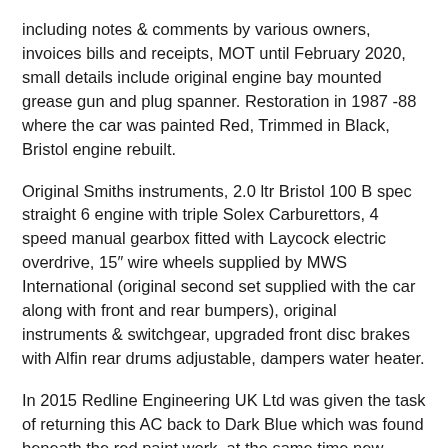including notes & comments by various owners, invoices bills and receipts, MOT until February 2020, small details include original engine bay mounted grease gun and plug spanner. Restoration in 1987 -88 where the car was painted Red, Trimmed in Black, Bristol engine rebuilt.
Original Smiths instruments, 2.0 ltr Bristol 100 B spec straight 6 engine with triple Solex Carburettors, 4 speed manual gearbox fitted with Laycock electric overdrive, 15″ wire wheels supplied by MWS International (original second set supplied with the car along with front and rear bumpers), original instruments & switchgear, upgraded front disc brakes with Alfin rear drums adjustable, dampers water heater.
In 2015 Redline Engineering UK Ltd was given the task of returning this AC back to Dark Blue which was found beneath the red paint work, at the same time new clutch was fitted along with front and rear leaf springs overhauled plus small minor rectifications.
The AC was dismantled for complete repaint, with any repaint